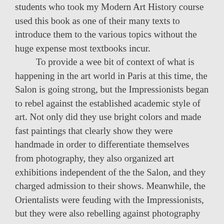students who took my Modern Art History course used this book as one of their many texts to introduce them to the various topics without the huge expense most textbooks incur. To provide a wee bit of context of what is happening in the art world in Paris at this time, the Salon is going strong, but the Impressionists began to rebel against the established academic style of art. Not only did they use bright colors and made fast paintings that clearly show they were handmade in order to differentiate themselves from photography, they also organized art exhibitions independent of the the Salon, and they charged admission to their shows. Meanwhile, the Orientalists were feuding with the Impressionists, but they were also rebelling against photography in their own way. The last Impressionist exhibition was in 1886, but before I get to that show, allow me to introduce you to the Salon des Indépendants. I would also like to apologize quickly if I mispronounce anything. In 1884, a group of artists including Georges Seurat, Paul Signac, Paul Cézanne, and Henri de Toulouse-Lautrec, came together with the goal to create an